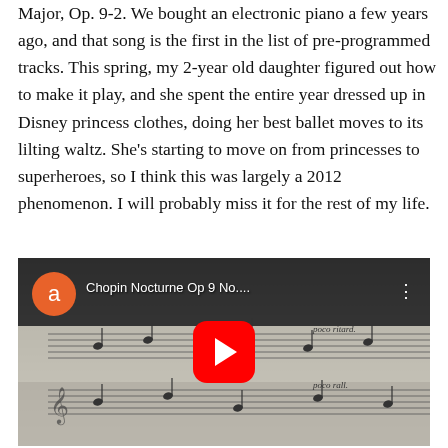Major, Op. 9-2. We bought an electronic piano a few years ago, and that song is the first in the list of pre-programmed tracks. This spring, my 2-year old daughter figured out how to make it play, and she spent the entire year dressed up in Disney princess clothes, doing her best ballet moves to its lilting waltz. She's starting to move on from princesses to superheroes, so I think this was largely a 2012 phenomenon. I will probably miss it for the rest of my life.
[Figure (screenshot): YouTube video thumbnail showing Chopin Nocturne Op 9 No... with sheet music background, orange avatar circle with letter 'a', red YouTube play button in center, and three-dot menu in top right.]